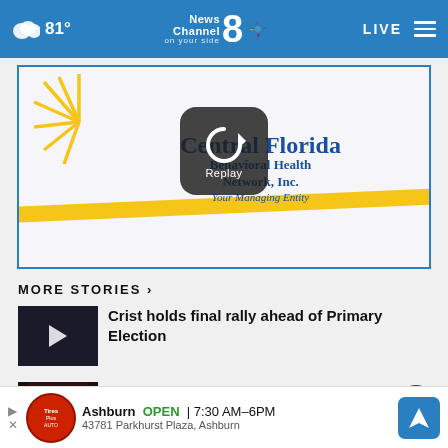81° News Channel 8 on your side LIVE
[Figure (logo): Central Florida Behavioral Health Network, Inc. Your Managing Entity — advertisement with replay overlay button]
MORE STORIES ›
Crist holds final rally ahead of Primary Election
[Figure (screenshot): Bottom advertisement bar: Ashburn OPEN 7:30 AM–6PM 43781 Parkhurst Plaza, Ashburn — Tire Auto logo, navigation icon]